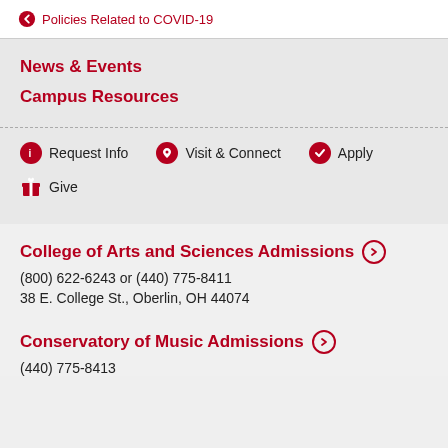Policies Related to COVID-19
News & Events
Campus Resources
Request Info
Visit & Connect
Apply
Give
College of Arts and Sciences Admissions →
(800) 622-6243 or (440) 775-8411
38 E. College St., Oberlin, OH 44074
Conservatory of Music Admissions →
(440) 775-8413